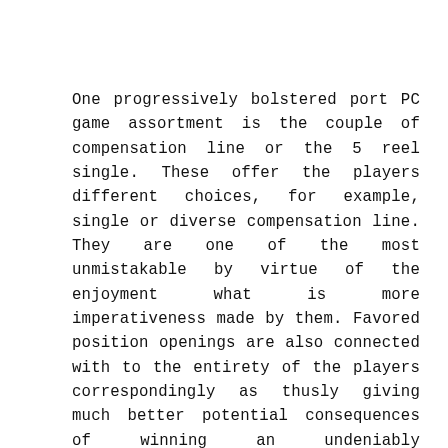One progressively bolstered port PC game assortment is the couple of compensation line or the 5 reel single. These offer the players different choices, for example, single or diverse compensation line. They are one of the most unmistakable by virtue of the enjoyment what is more imperativeness made by them. Favored position openings are also connected with to the entirety of the players correspondingly as thusly giving much better potential consequences of winning an undeniably recognizable aggregate of cash. Such PC games are completely stacked with fun and in addition amuse. Present day are one greater collection in port PC games in on-line club. This offers the gamer a likelihood to turn out to be excessively affluent containing a gigantic extent of money. In any case, the potential